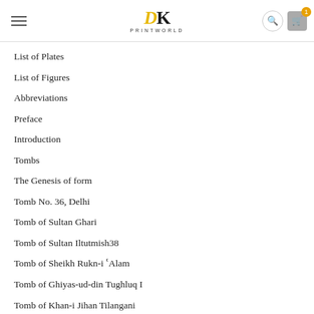DK PRINTWORLD
List of Plates
List of Figures
Abbreviations
Preface
Introduction
Tombs
The Genesis of form
Tomb No. 36, Delhi
Tomb of Sultan Ghari
Tomb of Sultan Iltutmish38
Tomb of Sheikh Rukn-i ʿAlam
Tomb of Ghiyas-ud-din Tughluq I
Tomb of Khan-i Jihan Tilangani
Tomb of Firuz Shah Tughluq
Tomb of Jalau-ud-din Mohammad Shah (Eklakhi)
Tomb of Mubarak Shah Sayyid